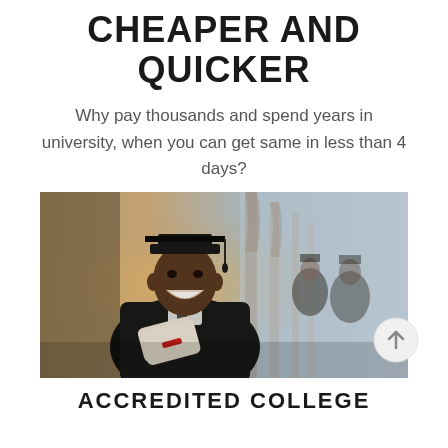CHEAPER AND QUICKER
Why pay thousands and spend years in university, when you can get same in less than 4 days?
[Figure (photo): A smiling young man in graduation cap and gown holding a diploma/scroll with a red ribbon, standing in a university hallway. Other graduates visible in the blurred background.]
ACCREDITED COLLEGE